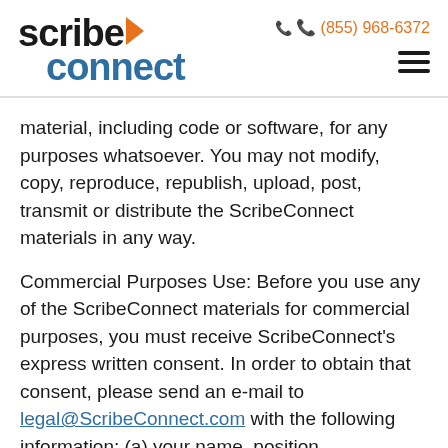ScribeConnect logo | (855) 968-6372
material, including code or software, for any purposes whatsoever. You may not modify, copy, reproduce, republish, upload, post, transmit or distribute the ScribeConnect materials in any way.
Commercial Purposes Use: Before you use any of the ScribeConnect materials for commercial purposes, you must receive ScribeConnect's express written consent. In order to obtain that consent, please send an e-mail to legal@ScribeConnect.com with the following information: (a) your name, position, organization, address and telephone number; (b) the ScribeConnect content, text, or graphics you want to